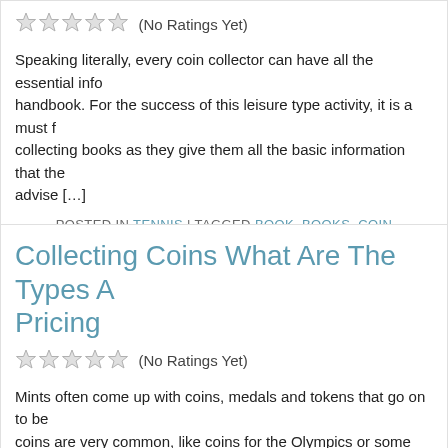[Figure (other): Five star rating icons (hollow/grey stars)]
(No Ratings Yet)
Speaking literally, every coin collector can have all the essential info handbook. For the success of this leisure type activity, it is a must f collecting books as they give them all the basic information that the advise [...]
POSTED IN TENNIS | TAGGED BOOK, BOOKS, COIN
Collecting Coins What Are The Types A Pricing
[Figure (other): Five star rating icons (hollow/grey stars)]
(No Ratings Yet)
Mints often come up with coins, medals and tokens that go on to be coins are very common, like coins for the Olympics or some other h landing on the moon by Apollo. A collectible coin has to be examine assigned [...]
POSTED IN TENNIS | TAGGED CENT, COIN, COINS,